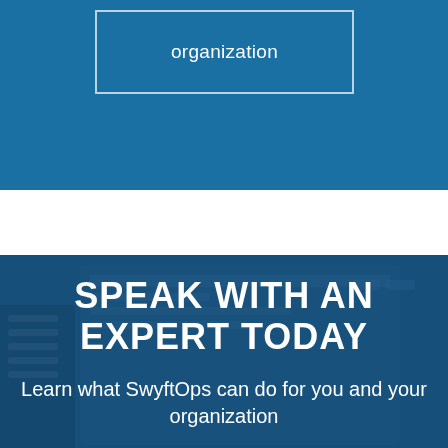organization
SPEAK WITH AN EXPERT TODAY
Learn what SwyftOps can do for you and your organization